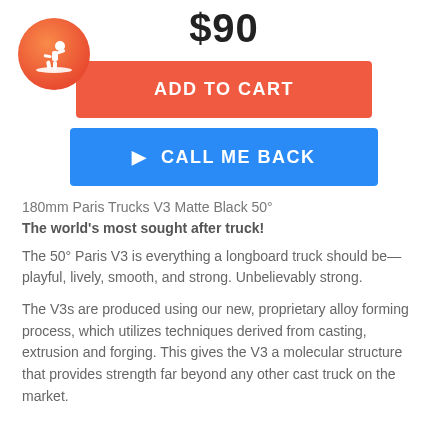$90
[Figure (logo): Orange circular logo with white silhouette of a skateboarder]
ADD TO CART
CALL ME BACK
180mm Paris Trucks V3 Matte Black 50°
The world's most sought after truck!
The 50° Paris V3 is everything a longboard truck should be—playful, lively, smooth, and strong. Unbelievably strong.
The V3s are produced using our new, proprietary alloy forming process, which utilizes techniques derived from casting, extrusion and forging. This gives the V3 a molecular structure that provides strength far beyond any other cast truck on the market.